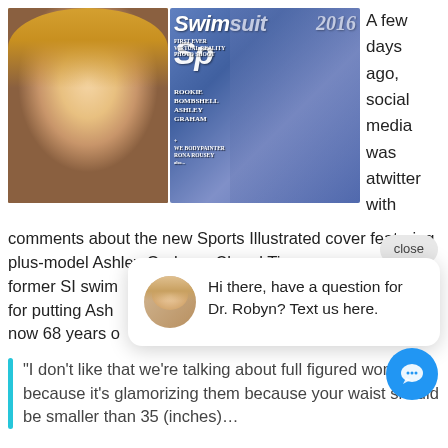[Figure (photo): Two photos side by side: left is a blonde woman at a red carpet event wearing a black top and diamond necklace; right is the Sports Illustrated Swimsuit 2016 cover featuring plus-model Ashley Graham in a blue/purple bikini.]
A few days ago, social media was atwitter with comments about the new Sports Illustrated cover featuring plus-model Ashley Graham. Cheryl Tiegs, former SI swim... for putting Ash... now 68 years o...
close
Hi there, have a question for Dr. Robyn? Text us here.
“I don’t like that we’re talking about full figured women because it’s glamorizing them because your waist should be smaller than 35 (inches)…